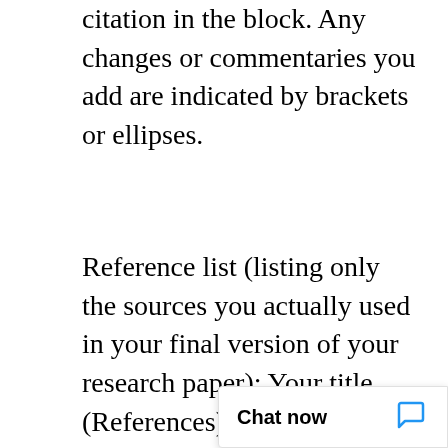citation in the block. Any changes or commentaries you add are indicated by brackets or ellipses.
Reference list (listing only the sources you actually used in your final version of your research paper): Your title (References) and text are in standard form, not bold, italics, or all caps, and your text is in hanging indent format. You have not used authors' first names, only initials. You have correctly capitalized the titles of your reference works. You have included all needed information for each type of citation according to your text. Your resources are [truncated] You have the [truncated]